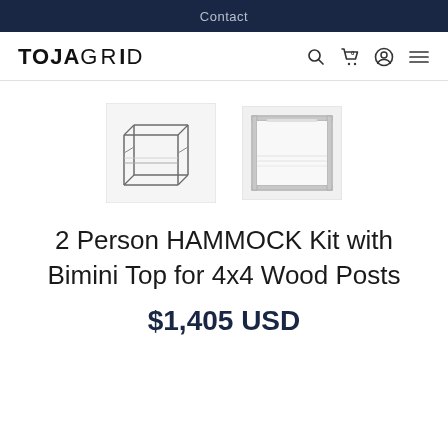Contact
[Figure (logo): TOJAGRID logo with navigation icons (search, cart, account, menu)]
[Figure (photo): Two product thumbnail images of a hammock kit with bimini top for 4x4 wood posts: a 3D view and a front flat view]
2 Person HAMMOCK Kit with Bimini Top for 4x4 Wood Posts
$1,405 USD